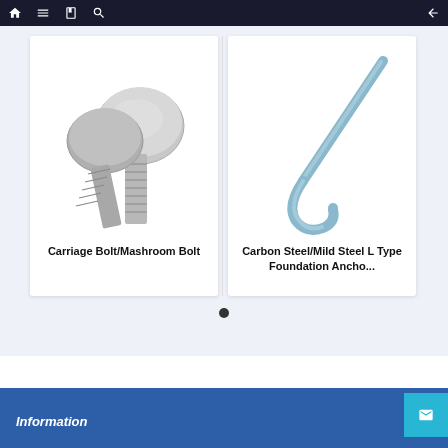Navigation bar with home, menu, book, search, and back icons
[Figure (photo): Photo of two stainless steel carriage bolts (mushroom head bolts) crossed over each other, shown on white background]
Carriage Bolt/Mashroom Bolt
[Figure (photo): Photo of a carbon steel L-type foundation anchor bolt (J-bolt shape), light blue/zinc plated finish, on white background]
Carbon Steel/Mild Steel L Type Foundation Ancho...
Information